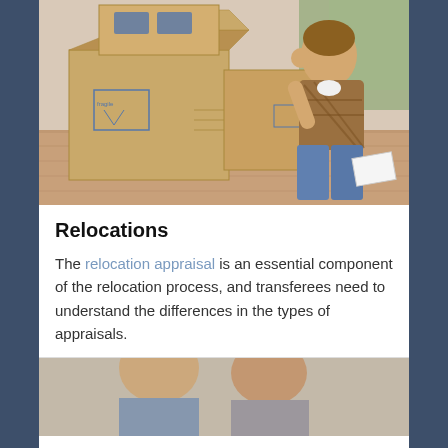[Figure (photo): Woman sitting on a hardwood floor surrounded by moving boxes, appearing stressed or thoughtful, leaning against the boxes.]
Relocations
The relocation appraisal is an essential component of the relocation process, and transferees need to understand the differences in the types of appraisals.
[Figure (photo): Partial view of two people, appears to be a couple, partially visible at the bottom of the page.]